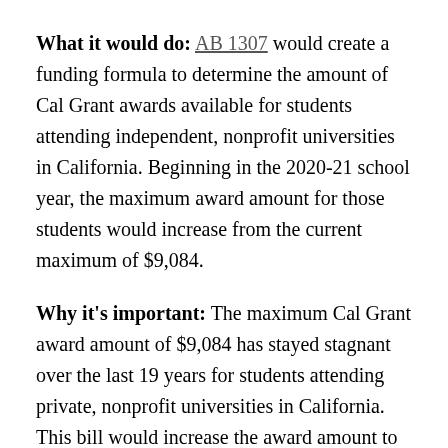What it would do: AB 1307 would create a funding formula to determine the amount of Cal Grant awards available for students attending independent, nonprofit universities in California. Beginning in the 2020-21 school year, the maximum award amount for those students would increase from the current maximum of $9,084.
Why it's important: The maximum Cal Grant award amount of $9,084 has stayed stagnant over the last 19 years for students attending private, nonprofit universities in California. This bill would increase the award amount to better reflect the increased cost of attending those schools.
Bill status: Passed the Assembly and currently in the